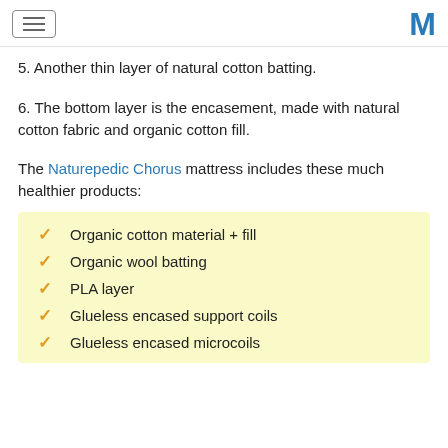[hamburger menu] [M logo]
5. Another thin layer of natural cotton batting.
6. The bottom layer is the encasement, made with natural cotton fabric and organic cotton fill.
The Naturepedic Chorus mattress includes these much healthier products:
Organic cotton material + fill
Organic wool batting
PLA layer
Glueless encased support coils
Glueless encased microcoils